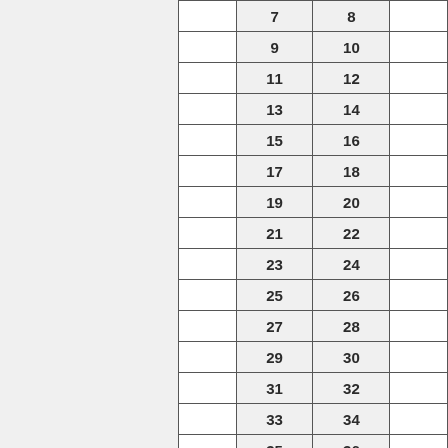|  |  |  |  |
| --- | --- | --- | --- |
|  | 7 | 8 |  |
|  | 9 | 10 |  |
|  | 11 | 12 |  |
|  | 13 | 14 |  |
|  | 15 | 16 |  |
|  | 17 | 18 |  |
|  | 19 | 20 |  |
|  | 21 | 22 |  |
|  | 23 | 24 |  |
|  | 25 | 26 |  |
|  | 27 | 28 |  |
|  | 29 | 30 |  |
|  | 31 | 32 |  |
|  | 33 | 34 |  |
|  | 35 | 36 |  |
|  |  |  |  |